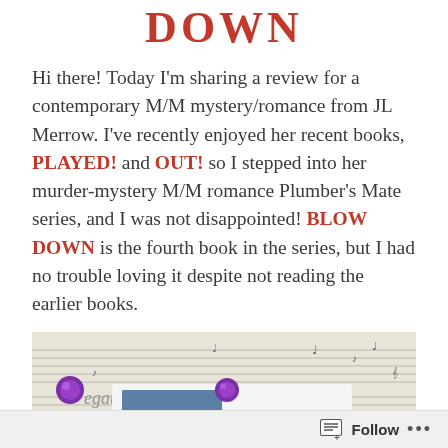DOWN
Hi there! Today I'm sharing a review for a contemporary M/M mystery/romance from JL Merrow. I've recently enjoyed her recent books, PLAYED! and OUT! so I stepped into her murder-mystery M/M romance Plumber's Mate series, and I was not disappointed! BLOW DOWN is the fourth book in the series, but I had no trouble loving it despite not reading the earlier books.
[Figure (photo): Book cover image pinned to a sheet of music with purple push pins, showing a partial view of a figure with blonde hair and a blue rectangular element]
Follow ...